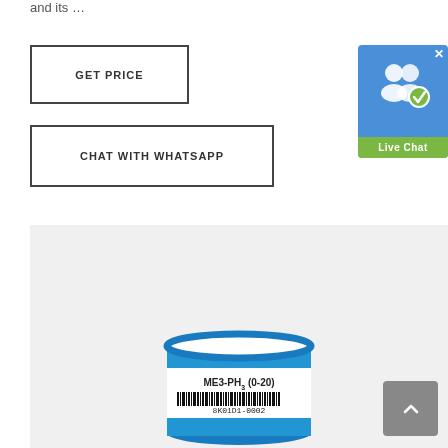and its …
GET PRICE
CHAT WITH WHATSAPP
[Figure (screenshot): Live Chat widget button with blue background, two user icons, checkmark icon, and green 'Live Chat' label, with an X close button in top right corner]
[Figure (photo): Product photo of a small cylindrical electrochemical sensor with blue rim and white top face, labeled 'ME3-PH3 (0-20)' with barcode and serial number '8K01D1-0002', on a light gray background]